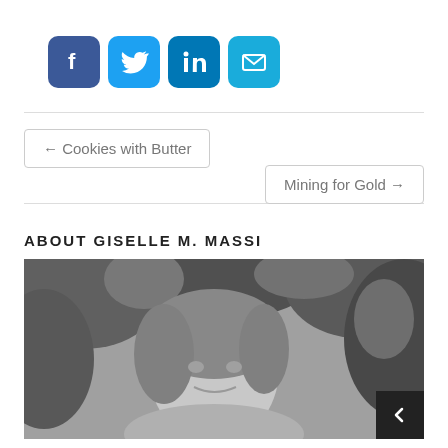[Figure (other): Social media sharing icons: Facebook (blue), Twitter (blue), LinkedIn (teal-blue), Email (teal)]
← Cookies with Butter
Mining for Gold →
ABOUT GISELLE M. MASSI
[Figure (photo): Black and white portrait photo of Giselle M. Massi, a woman with medium-length hair smiling, with tropical foliage in the background]